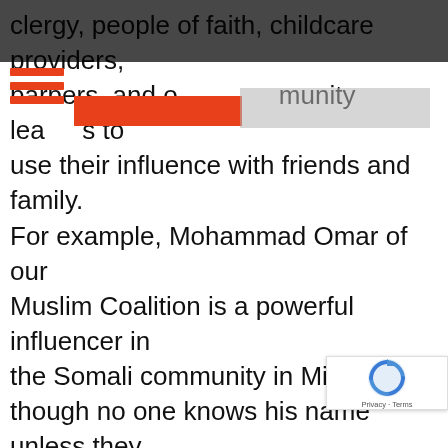clergy, people of faith, childcare providers, barbers, and other community leaders to use their influence with friends and family. For example, Mohammad Omar of our Muslim Coalition is a powerful influencer in the Somali community in Minnesota, though no one knows his name unless they are part of that community. He is one of the most critical messengers to shape a story about Muslims claiming their voices. Or Jessica. She is the right messenger for other small town and rural folks in her community — she knows everyone, and her selfie video will be much more effective than a polis actor in a fancy ad. We built an infrastructure to help community